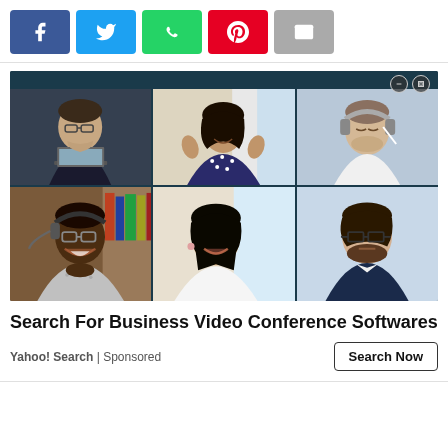[Figure (screenshot): Social media share buttons: Facebook (blue), Twitter (light blue), WhatsApp (green), Pinterest (red), Email (gray)]
[Figure (photo): Video conference screen showing 6 people in a 2x3 grid layout. Top row: man with glasses at laptop, smiling woman with hands raised in polka dot top, man with headphones and eyes closed. Bottom row: man with headset smiling, Asian woman smiling in white top, man with glasses in suit.]
Search For Business Video Conference Softwares
Yahoo! Search | Sponsored
Search Now